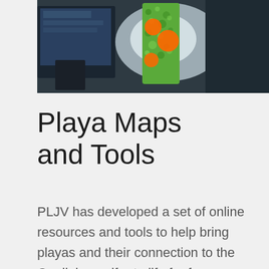[Figure (photo): A photo showing a colorful printed map or brochure with orange and green designs, held near a computer monitor in a dim indoor setting.]
Playa Maps and Tools
PLJV has developed a set of online resources and tools to help bring playas and their connection to the Ogallala aquifer to life for farmers, ranchers, resource managers, and others throughout the region — starting with outreach materials